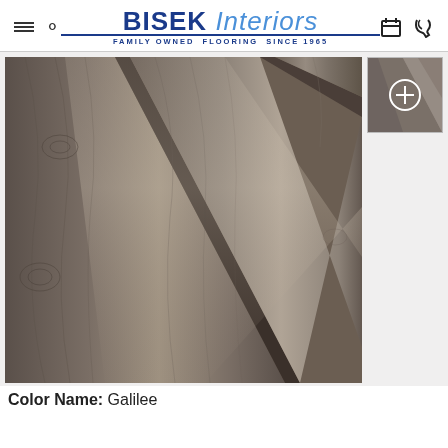BISEK Interiors — FAMILY OWNED FLOORING SINCE 1965
[Figure (photo): Close-up photograph of grey-brown wood plank flooring (Galilee color) showing grain and knot details, with a thumbnail showing a detail view with a plus/zoom icon overlay]
Color Name: Galilee